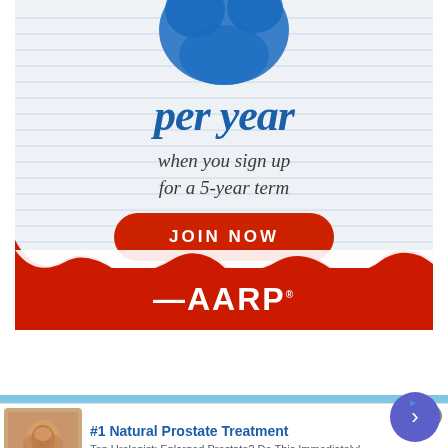[Figure (illustration): AARP advertisement showing 'per year' text in blue italic script on lined notebook paper background, with 'when you sign up for a 5-year term' text, a red 'JOIN NOW' button, torn paper edge, red footer with AARP logo]
[Figure (illustration): Native advertisement for '#1 Natural Prostate Treatment' from healthreport4u.com showing anatomical prostate illustration, ad text, and navigation arrow button]